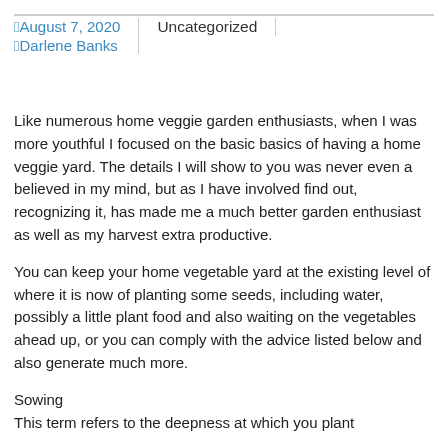August 7, 2020 | Uncategorized | Darlene Banks
Like numerous home veggie garden enthusiasts, when I was more youthful I focused on the basic basics of having a home veggie yard. The details I will show to you was never even a believed in my mind, but as I have involved find out, recognizing it, has made me a much better garden enthusiast as well as my harvest extra productive.
You can keep your home vegetable yard at the existing level of where it is now of planting some seeds, including water, possibly a little plant food and also waiting on the vegetables ahead up, or you can comply with the advice listed below and also generate much more.
Sowing
This term refers to the deepness at which you plant your seed. It is a basic planting rule, but a very